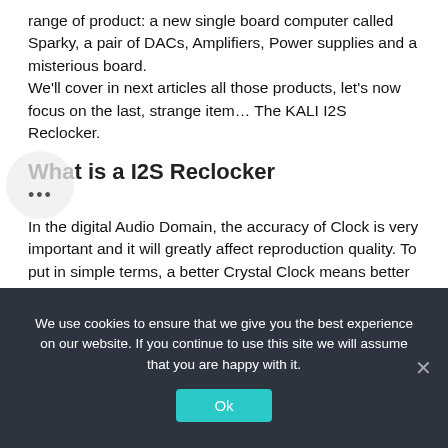range of product: a new single board computer called Sparky, a pair of DACs, Amplifiers, Power supplies and a misterious board.
We’ll cover in next articles all those products, let’s now focus on the last, strange item… The KALI I2S Reclocker.
What is a I2S Reclocker
In the digital Audio Domain, the accuracy of Clock is very important and it will greatly affect reproduction quality. To put in simple terms, a better Crystal Clock means better sound. Things like sound details, instrumental separation, 3d image are hugely impacted by Jitter, and Clock directly impacts jitter. Most of the I2S DACs currently used with Volumio either feature a Master Clock integrated in the DAC, or an external
We use cookies to ensure that we give you the best experience on our website. If you continue to use this site we will assume that you are happy with it.